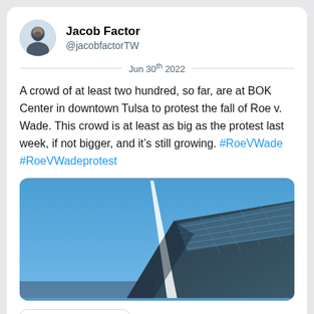Jacob Factor
@jacobfactorTW
Jun 30th 2022
A crowd of at least two hundred, so far, are at BOK Center in downtown Tulsa to protest the fall of Roe v. Wade. This crowd is at least as big as the protest last week, if not bigger, and it's still growing. #RoeVWade #RoeVWadeprotest
[Figure (photo): Photo of BOK Center building against a blue sky, showing the angular glass facade and a light beam or architectural element in front.]
Read 24 tweets